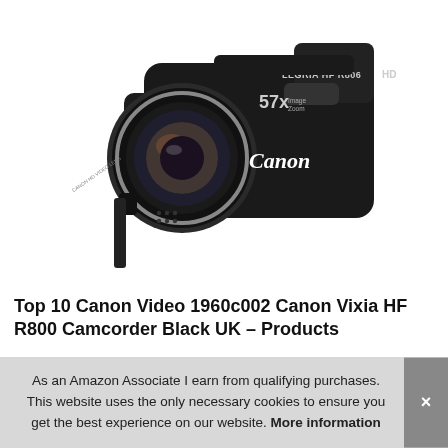[Figure (photo): Canon LEGRIA HF R806 HD camcorder in black, shown in three-quarter front view. The camcorder body has 'Canon' branding, '57x' zoom indicator, 'LEGRIA HF R806 HD' text, and a large lens on the left side.]
Top 10 Canon Video 1960c002 Canon Vixia HF R800 Camcorder Black UK – Products
As an Amazon Associate I earn from qualifying purchases. This website uses the only necessary cookies to ensure you get the best experience on our website. More information